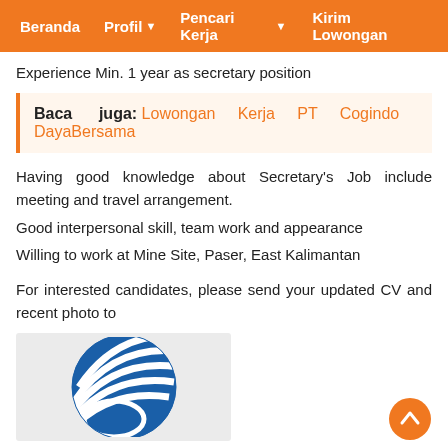Beranda  Profil ▾  Pencari Kerja ▾  Kirim Lowongan
Experience Min. 1 year as secretary position
Baca juga: Lowongan Kerja PT Cogindo DayaBersama
Having good knowledge about Secretary's Job include meeting and travel arrangement.
Good interpersonal skill, team work and appearance
Willing to work at Mine Site, Paser, East Kalimantan
For interested candidates, please send your updated CV and recent photo to
[Figure (logo): Blue circular globe/sphere logo with white horizontal stripe lines, company logo]